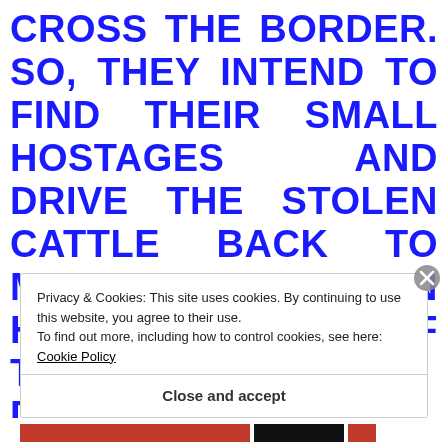CROSS THE BORDER. SO, THEY INTEND TO FIND THEIR SMALL HOSTAGES AND DRIVE THE STOLEN CATTLE BACK TO MOLODI. THEY ARE IN HOT PURSUIT OF THEIR ENEMIES, DESPITE EXPERIENCING HUNGER AND THIRST; TRAIL THREE: AN ELDERLY TRACKER AND HIS COMPANION TAKE A RISKY SHORT
Privacy & Cookies: This site uses cookies. By continuing to use this website, you agree to their use. To find out more, including how to control cookies, see here: Cookie Policy
Close and accept